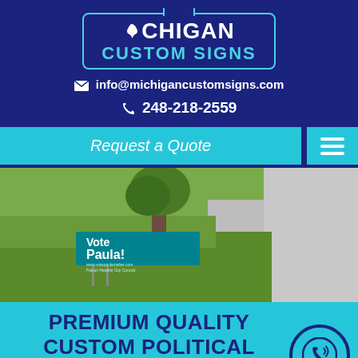[Figure (logo): Michigan Custom Signs logo — white bordered rectangle on dark navy background with teal 'CUSTOM SIGNS' text and Michigan state outline icon]
✉ info@michigancustomsigns.com
📞 248-218-2559
Request a Quote
[Figure (photo): Outdoor yard sign in grass reading 'Vote Paula!' with website and Falcon Heights City Council text, near a tree and sidewalk]
PREMIUM QUALITY CUSTOM POLITICAL SIGNS IN NOVI MICHIGAN